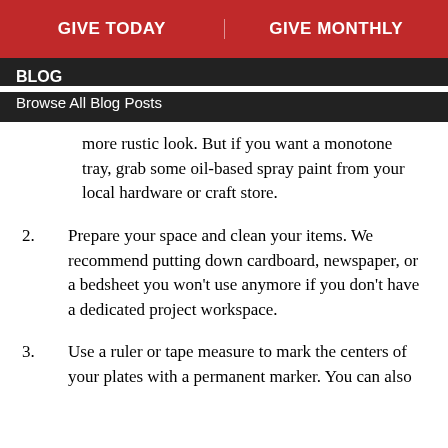GIVE TODAY | GIVE MONTHLY
BLOG
Browse All Blog Posts
more rustic look. But if you want a monotone tray, grab some oil-based spray paint from your local hardware or craft store.
2. Prepare your space and clean your items. We recommend putting down cardboard, newspaper, or a bedsheet you won't use anymore if you don't have a dedicated project workspace.
3. Use a ruler or tape measure to mark the centers of your plates with a permanent marker. You can also